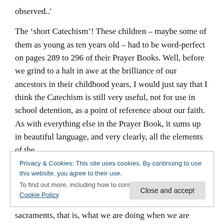observed..'
The ‘short Catechism’! These children – maybe some of them as young as ten years old – had to be word-perfect on pages 289 to 296 of their Prayer Books. Well, before we grind to a halt in awe at the brilliance of our ancestors in their childhood years, I would just say that I think the Catechism is still very useful, not for use in school detention, as a point of reference about our faith. As with everything else in the Prayer Book, it sums up in beautiful language, and very clearly, all the elements of the
Privacy & Cookies: This site uses cookies. By continuing to use this website, you agree to their use.
To find out more, including how to control cookies, see here: Cookie Policy
sacraments, that is, what we are doing when we are